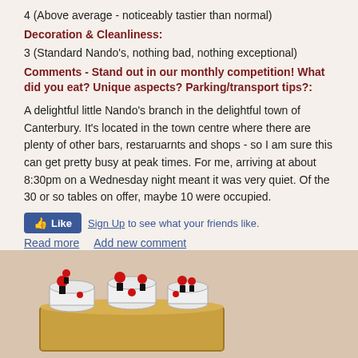4 (Above average - noticeably tastier than normal)
Decoration & Cleanliness:
3 (Standard Nando's, nothing bad, nothing exceptional)
Comments - Stand out in our monthly competition! What did you eat? Unique aspects? Parking/transport tips?:
A delightful little Nando's branch in the delightful town of Canterbury. It's located in the town centre where there are plenty of other bars, restaruarnts and shops - so I am sure this can get pretty busy at peak times. For me, arriving at about 8:30pm on a Wednesday night meant it was very quiet. Of the 30 or so tables on offer, maybe 10 were occupied.
[Figure (other): Facebook Like button with Sign Up link]
Read more   Add new comment
[Figure (illustration): Nando's rooster/chicken mascot illustration on a stylized stage or counter]